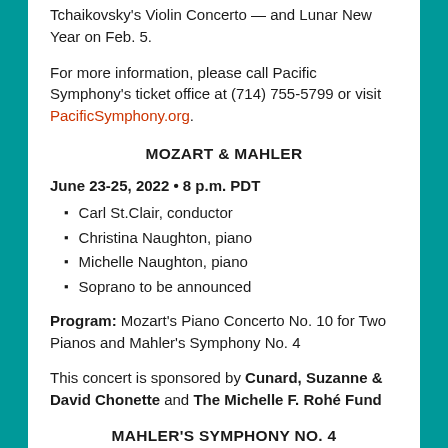Tchaikovsky's Violin Concerto — and Lunar New Year on Feb. 5.
For more information, please call Pacific Symphony's ticket office at (714) 755-5799 or visit PacificSymphony.org.
MOZART & MAHLER
June 23-25, 2022 • 8 p.m. PDT
Carl St.Clair, conductor
Christina Naughton, piano
Michelle Naughton, piano
Soprano to be announced
Program: Mozart's Piano Concerto No. 10 for Two Pianos and Mahler's Symphony No. 4
This concert is sponsored by Cunard, Suzanne & David Chonette and The Michelle F. Rohé Fund
MAHLER'S SYMPHONY NO. 4